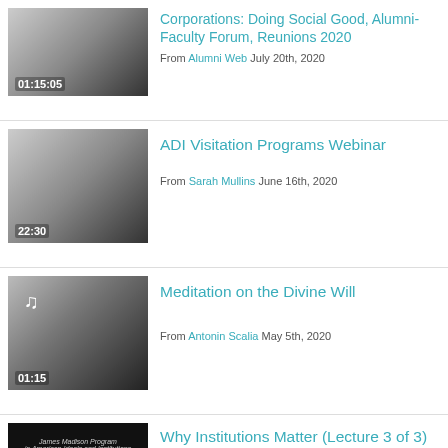Corporations: Doing Social Good, Alumni-Faculty Forum, Reunions 2020
From Alumni Web July 20th, 2020
Duration: 01:15:05
ADI Visitation Programs Webinar
From Sarah Mullins June 16th, 2020
Duration: 22:30
Meditation on the Divine Will
From Antonin Scalia May 5th, 2020
Duration: 01:15
Why Institutions Matter (Lecture 3 of 3)